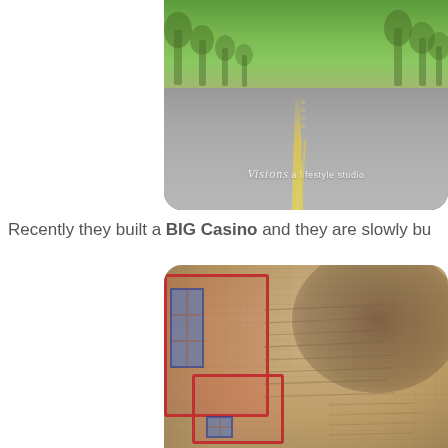[Figure (photo): Tree-lined road/boulevard with yellow center lines, green trees on both sides, and a watermark reading 'Visions a lifestyle studio' overlaid on the road surface. Photo is cropped showing only right portion of the scene.]
Recently they built a BIG Casino and they are slowly bu
[Figure (photo): Close-up blurred photo of what appears to be menus or signage with red frames/borders, blue window-paned elements, and stone/brick textured background. Only right portion visible.]